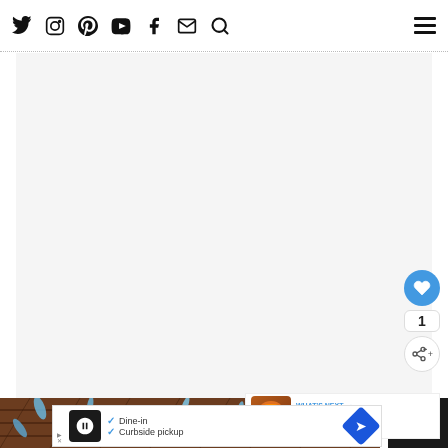Navigation bar with social icons: Twitter, Instagram, Pinterest, YouTube, Facebook, Email, Search, and hamburger menu
[Figure (other): Large white/light gray content area, mostly blank]
[Figure (other): Blue circular heart/like button with count '1' below, and share button]
[Figure (other): What's Next card with thumbnail of Hocus Pocus Cupcakes]
WHAT'S NEXT → Hocus Pocus Cupcakes wi...
[Figure (photo): Bottom photo strip showing blue decorative items on brown wooden surface]
[Figure (other): Advertisement banner: Dine-in / Curbside pickup with restaurant icon and navigation arrow]